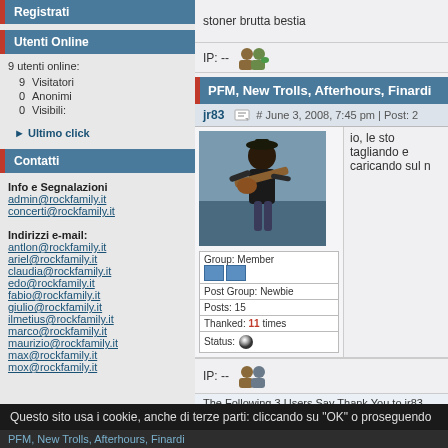Registrati
Utenti Online
9 utenti online:
9 Visitatori
0 Anonimi
0 Visibili:
▶ Ultimo click
Contatti
Info e Segnalazioni
admin@rockfamily.it
concerti@rockfamily.it
Indirizzi e-mail:
antlon@rockfamily.it
ariel@rockfamily.it
claudia@rockfamily.it
edo@rockfamily.it
fabio@rockfamily.it
giulio@rockfamily.it
ilmetius@rockfamily.it
marco@rockfamily.it
maurizio@rockfamily.it
max@rockfamily.it
mox@rockfamily.it
IP: --
PFM, New Trolls, Afterhours, Finardi
jr83
# June 3, 2008, 7:45 pm | Post: 2
[Figure (photo): User avatar photo of jr83, person playing guitar]
Group: Member
Post Group: Newbie
Posts: 15
Thanked: 11 times
Status:
io, le sto tagliando e caricando sul n
IP: --
The Following 3 Users Say Thank You to jr83 For This Useful P
giuann (June 6, 2008, 3:36 pm), mapyblue (June 3, 2008, 10:35 am)
Questo sito usa i cookie, anche di terze parti: cliccando su "OK" o proseguendo
PFM, New Trolls, Afterhours, Finardi